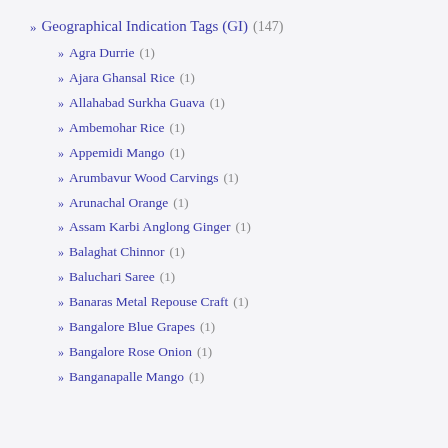» Geographical Indication Tags (GI) (147)
» Agra Durrie (1)
» Ajara Ghansal Rice (1)
» Allahabad Surkha Guava (1)
» Ambemohar Rice (1)
» Appemidi Mango (1)
» Arumbavur Wood Carvings (1)
» Arunachal Orange (1)
» Assam Karbi Anglong Ginger (1)
» Balaghat Chinnor (1)
» Baluchari Saree (1)
» Banaras Metal Repouse Craft (1)
» Bangalore Blue Grapes (1)
» Bangalore Rose Onion (1)
» Banganapalle Mango (1)